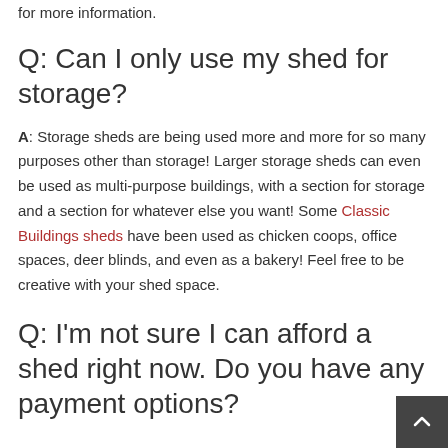for more information.
Q: Can I only use my shed for storage?
A: Storage sheds are being used more and more for so many purposes other than storage! Larger storage sheds can even be used as multi-purpose buildings, with a section for storage and a section for whatever else you want! Some Classic Buildings sheds have been used as chicken coops, office spaces, deer blinds, and even as a bakery! Feel free to be creative with your shed space.
Q: I'm not sure I can afford a shed right now. Do you have any payment options?